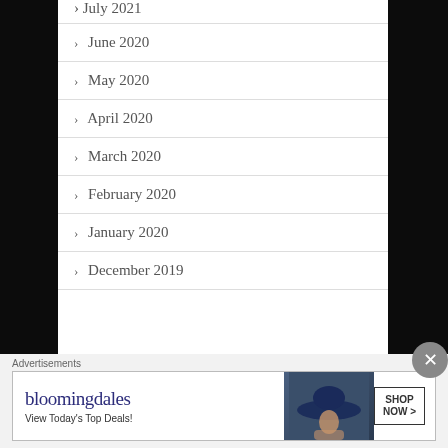July 2021
June 2020
May 2020
April 2020
March 2020
February 2020
January 2020
December 2019
Advertisements
[Figure (photo): Bloomingdales advertisement banner with logo, tagline 'View Today's Top Deals!', a woman wearing a large blue hat, and a 'SHOP NOW >' button.]